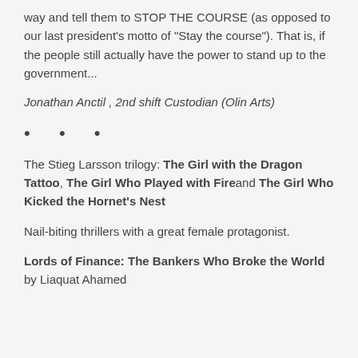way and tell them to STOP THE COURSE (as opposed to our last president's motto of "Stay the course"). That is, if the people still actually have the power to stand up to the government...
Jonathan Anctil , 2nd shift Custodian (Olin Arts)
• • •
The Stieg Larsson trilogy: The Girl with the Dragon Tattoo, The Girl Who Played with Fire and The Girl Who Kicked the Hornet's Nest
Nail-biting thrillers with a great female protagonist.
Lords of Finance: The Bankers Who Broke the World by Liaquat Ahamed